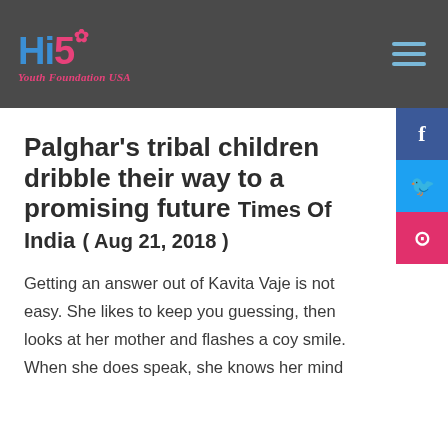Hi5 Youth Foundation USA
Palghar’s tribal children dribble their way to a promising future Times Of India ( Aug 21, 2018 )
Getting an answer out of Kavita Vaje is not easy. She likes to keep you guessing, then looks at her mother and flashes a coy smile. When she does speak, she knows her mind